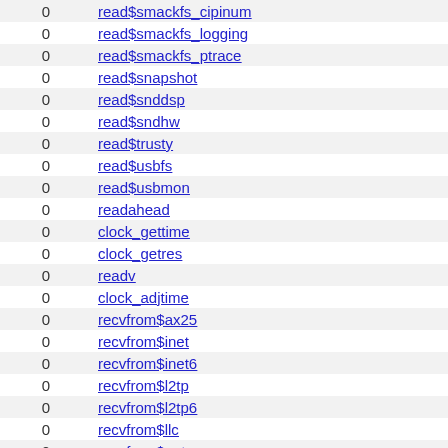| count | name |
| --- | --- |
| 0 | read$smackfs_cipinum |
| 0 | read$smackfs_logging |
| 0 | read$smackfs_ptrace |
| 0 | read$snapshot |
| 0 | read$snddsp |
| 0 | read$sndhw |
| 0 | read$trusty |
| 0 | read$usbfs |
| 0 | read$usbmon |
| 0 | readahead |
| 0 | clock_gettime |
| 0 | clock_getres |
| 0 | readv |
| 0 | clock_adjtime |
| 0 | recvfrom$ax25 |
| 0 | recvfrom$inet |
| 0 | recvfrom$inet6 |
| 0 | recvfrom$l2tp |
| 0 | recvfrom$l2tp6 |
| 0 | recvfrom$llc |
| 0 | recvfrom$netrom |